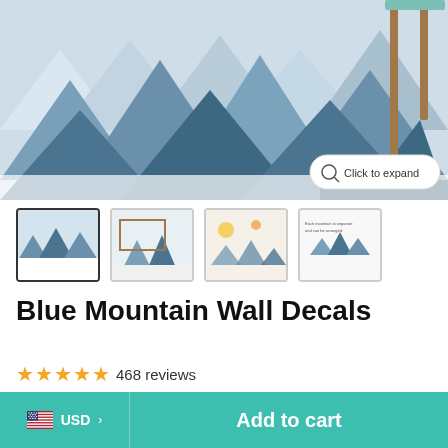[Figure (photo): Main product photo showing blue mountain wall decals applied to a white wall in a children's room setting with a teal chair visible in the top right corner. A 'Click to expand' button overlay is visible at the bottom right.]
[Figure (photo): Four product thumbnail images showing different views of the Blue Mountain Wall Decals product]
Blue Mountain Wall Decals
★★★★★ 468 reviews
$70.00
USD > Add to cart